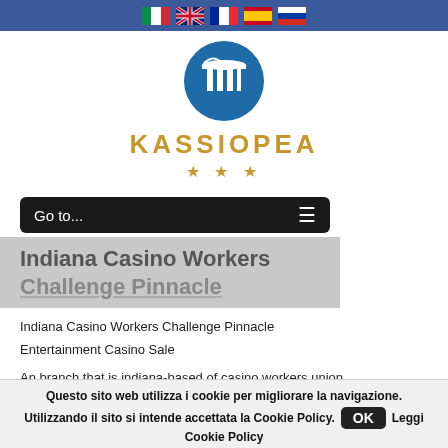Flag icons: Italy, UK, France, Spain, Russia
[Figure (logo): Kassiopea hotel logo: circular blue icon with white Greek column capital and pillar motif, with text KASSIOPEA and three gold stars below]
Go to...
Indiana Casino Workers Challenge Pinnacle
Indiana Casino Workers Challenge Pinnacle
Entertainment Casino Sale
An branch that is indiana-based of casino workers union
Questo sito web utilizza i cookie per migliorare la navigazione.
Utilizzando il sito si intende accettata la Cookie Policy.
Cookie Policy